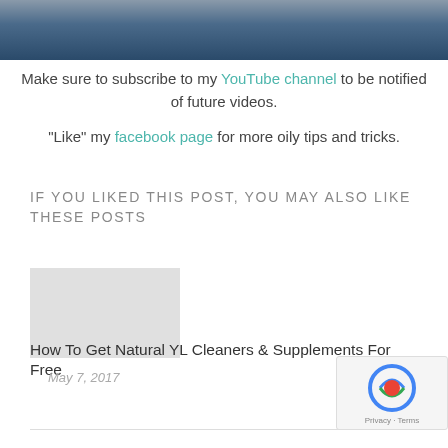[Figure (photo): Cropped photo of a person in a striped top against a colorful background]
Make sure to subscribe to my YouTube channel to be notified of future videos.
"Like" my facebook page for more oily tips and tricks.
IF YOU LIKED THIS POST, YOU MAY ALSO LIKE THESE POSTS
[Figure (photo): Placeholder image for related post]
How To Get Natural YL Cleaners & Supplements For Free
May 7, 2017